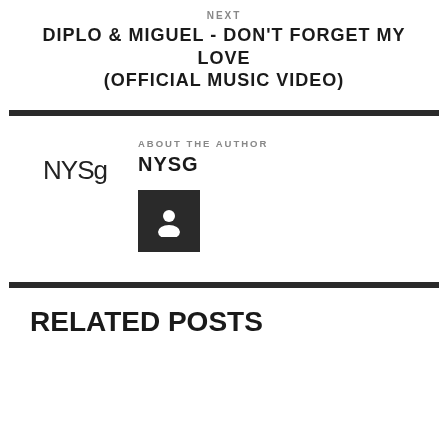NEXT
DIPLO & MIGUEL - DON'T FORGET MY LOVE (OFFICIAL MUSIC VIDEO)
ABOUT THE AUTHOR
NYSG
[Figure (illustration): Dark square button with a user/person icon (silhouette) in white]
RELATED POSTS